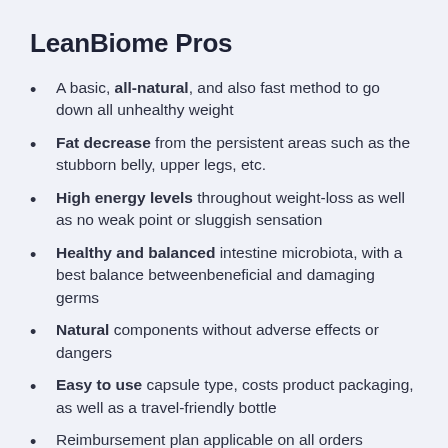LeanBiome Pros
A basic, all-natural, and also fast method to go down all unhealthy weight
Fat decrease from the persistent areas such as the stubborn belly, upper legs, etc.
High energy levels throughout weight-loss as well as no weak point or sluggish sensation
Healthy and balanced intestine microbiota, with a best balance betweenbeneficial and damaging germs
Natural components without adverse effects or dangers
Easy to use capsule type, costs product packaging, as well as a travel-friendly bottle
Reimbursement plan applicable on all orders